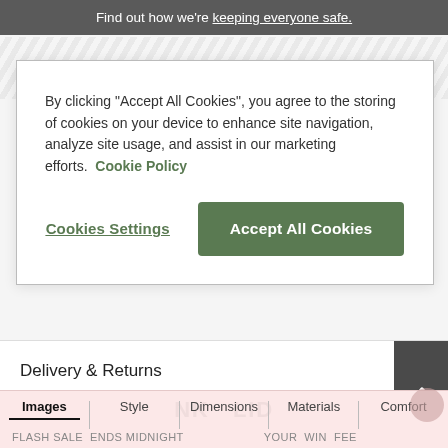Find out how we're keeping everyone safe.
By clicking “Accept All Cookies”, you agree to the storing of cookies on your device to enhance site navigation, analyze site usage, and assist in our marketing efforts. Cookie Policy
Cookies Settings
Accept All Cookies
Delivery & Returns
Finance Options
Images  Style  Dimensions  Materials  Comfort